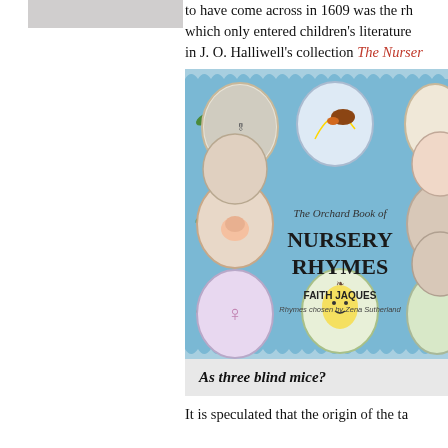[Figure (illustration): Grey rectangle placeholder image in the left column]
to have come across in 1609 was the rh which only entered children's literature in J. O. Halliwell's collection The Nurser
[Figure (photo): Cover of 'The Orchard Book of Nursery Rhymes' illustrated by Faith Jaques, rhymes chosen by Zena Sutherland. Blue background with oval illustrations of nursery rhyme characters surrounding the title.]
As three blind mice?
It is speculated that the origin of the ta